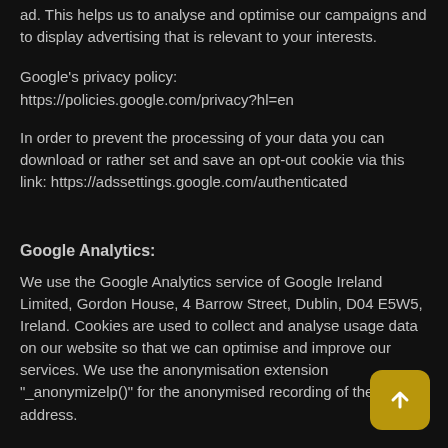ad. This helps us to analyse and optimise our campaigns and to display advertising that is relevant to your interests.
Google's privacy policy: https://policies.google.com/privacy?hl=en
In order to prevent the processing of your data you can download or rather set and save an opt-out cookie via this link: https://adssettings.google.com/authenticated
Google Analytics:
We use the Google Analytics service of Google Ireland Limited, Gordon House, 4 Barrow Street, Dublin, D04 E5W5, Ireland. Cookies are used to collect and analyse usage data on our website so that we can optimise and improve our services. We use the anonymisation extension "_anonymizelp()" for the anonymised recording of the IP address.